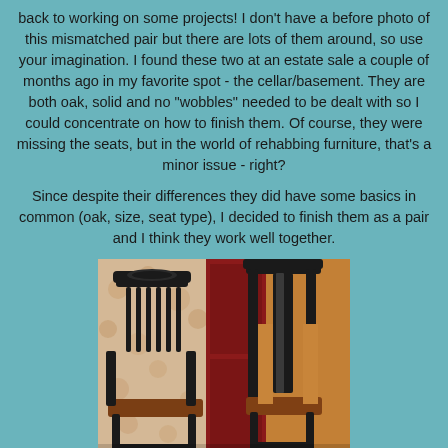back to working on some projects!  I don't have a before photo of this mismatched pair but there are lots of them around, so use your imagination.  I found these two at an estate sale a couple of months ago in my favorite spot - the cellar/basement.  They are both oak, solid and no "wobbles" needed to be dealt with so I could concentrate on how to finish them.  Of course, they were missing the seats, but in the world of rehabbing furniture, that's a minor issue - right?
Since despite their differences they did have some basics in common (oak, size, seat type), I decided to finish them as a pair and I think they work well together.
[Figure (photo): Two mismatched oak chairs refinished in black paint with brown leather seats, photographed in front of a red door with floral wallpaper background.]